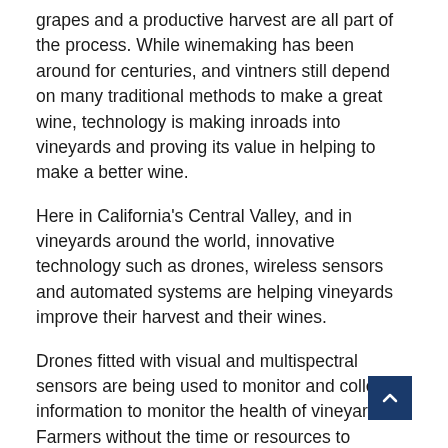grapes and a productive harvest are all part of the process. While winemaking has been around for centuries, and vintners still depend on many traditional methods to make a great wine, technology is making inroads into vineyards and proving its value in helping to make a better wine.
Here in California's Central Valley, and in vineyards around the world, innovative technology such as drones, wireless sensors and automated systems are helping vineyards improve their harvest and their wines.
Drones fitted with visual and multispectral sensors are being used to monitor and collect information to monitor the health of vineyards. Farmers without the time or resources to manage hundreds or even thousands of acres of vines can use drones to identify problems and address them much more efficiently.